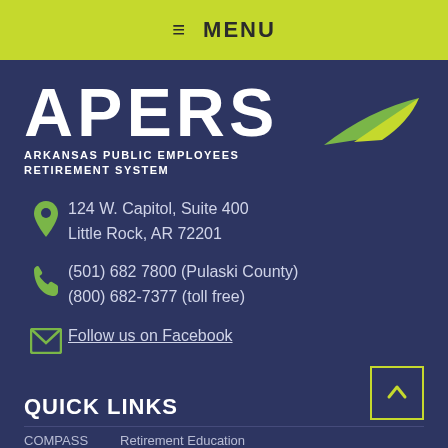≡ MENU
[Figure (logo): APERS Arkansas Public Employees Retirement System logo with swoosh graphic]
124 W. Capitol, Suite 400
Little Rock, AR 72201
(501) 682 7800 (Pulaski County)
(800) 682-7377 (toll free)
Follow us on Facebook
QUICK LINKS
COMPASS Retirement Education